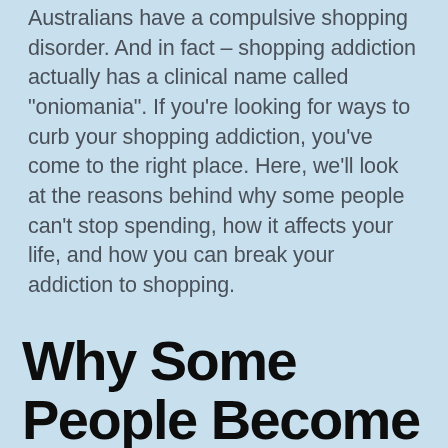Australians have a compulsive shopping disorder. And in fact – shopping addiction actually has a clinical name called "oniomania". If you're looking for ways to curb your shopping addiction, you've come to the right place. Here, we'll look at the reasons behind why some people can't stop spending, how it affects your life, and how you can break your addiction to shopping.
Why Some People Become Shopaholics: